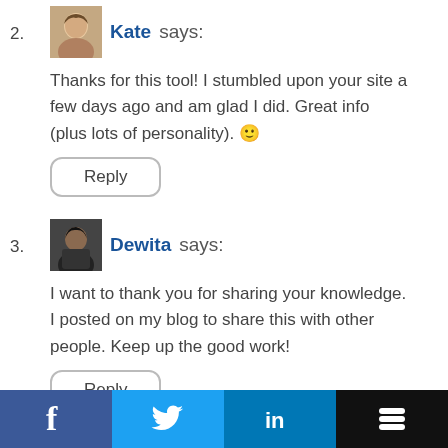2. Kate says: Thanks for this tool! I stumbled upon your site a few days ago and am glad I did. Great info (plus lots of personality). 🙂
Reply
3. Dewita says: I want to thank you for sharing your knowledge. I posted on my blog to share this with other people. Keep up the good work!
Reply
Facebook Twitter LinkedIn Buffer social sharing bar